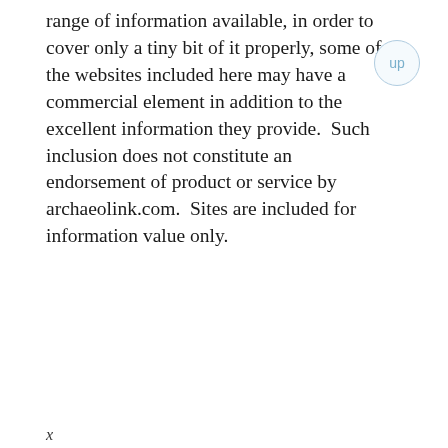range of information available, in order to cover only a tiny bit of it properly, some of the websites included here may have a commercial element in addition to the excellent information they provide.  Such inclusion does not constitute an endorsement of product or service by archaeolink.com.  Sites are included for information value only.
x